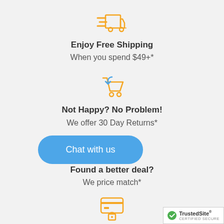[Figure (illustration): Orange shipping truck icon with speed lines]
Enjoy Free Shipping
When you spend $49+*
[Figure (illustration): Blue shopping cart with return arrow icon]
Not Happy? No Problem!
We offer 30 Day Returns*
[Figure (illustration): Orange credit card icon]
Found a better deal?
We price match*
[Figure (illustration): Orange secure payment/lock icon]
Chat with us
[Figure (logo): TrustedSite Certified Secure badge]